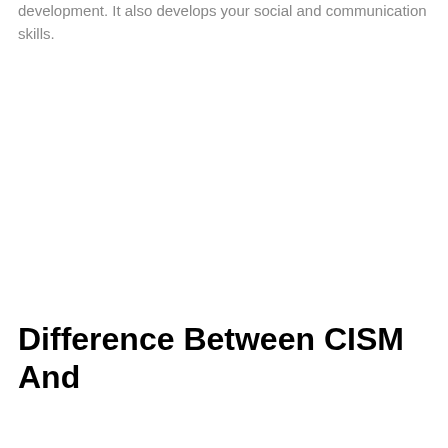development. It also develops your social and communication skills.
Difference Between CISM And